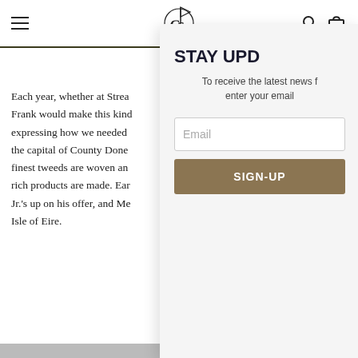Navigation bar with hamburger menu, logo, search and cart icons
Each year, whether at Strea... Frank would make this kind... expressing how we needed... the capital of County Done... finest tweeds are woven an... rich products are made. Ear... Jr.'s up on his offer, and Me... Isle of Eire.
[Figure (screenshot): Email sign-up modal overlay with title STAY UPD..., subtitle about receiving latest news, email input field, and SIGN-UP button]